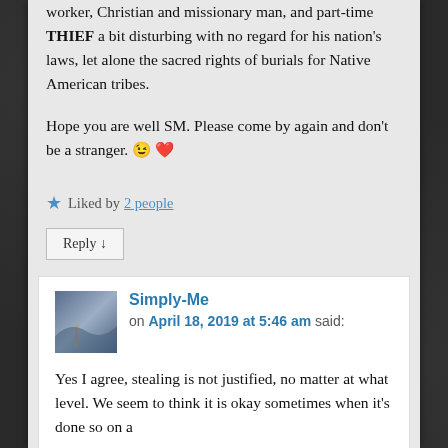worker, Christian and missionary man, and part-time THIEF a bit disturbing with no regard for his nation's laws, let alone the sacred rights of burials for Native American tribes.
Hope you are well SM. Please come by again and don't be a stranger. 😉 ❤️
★ Liked by 2 people
Reply ↓
Simply-Me on April 18, 2019 at 5:46 am said:
Yes I agree, stealing is not justified, no matter at what level. We seem to think it is okay sometimes when it's done so on a